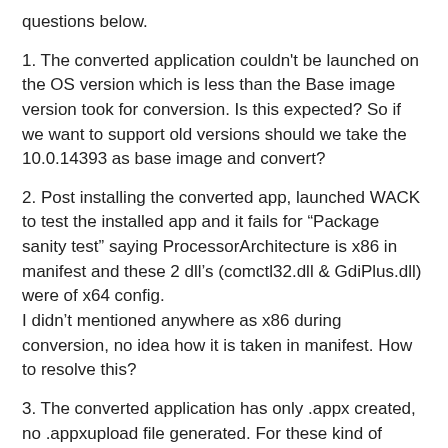questions below.
1. The converted application couldn't be launched on the OS version which is less than the Base image version took for conversion. Is this expected? So if we want to support old versions should we take the 10.0.14393 as base image and convert?
2. Post installing the converted app, launched WACK to test the installed app and it fails for “Package sanity test” saying ProcessorArchitecture is x86 in manifest and these 2 dll’s (comctl32.dll & GdiPlus.dll) were of x64 config.
I didn’t mentioned anywhere as x86 during conversion, no idea how it is taken in manifest. How to resolve this?
3. The converted application has only .appx created, no .appxupload file generated. For these kind of converted applications case how to reach the Store?